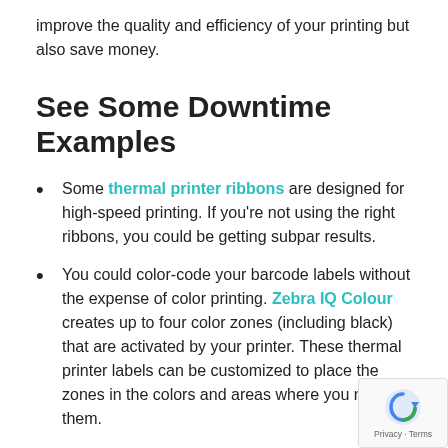improve the quality and efficiency of your printing but also save money.
See Some Downtime Examples
Some thermal printer ribbons are designed for high-speed printing. If you're not using the right ribbons, you could be getting subpar results.
You could color-code your barcode labels without the expense of color printing. Zebra IQ Colour creates up to four color zones (including black) that are activated by your printer. These thermal printer labels can be customized to place the zones in the colors and areas where you need them.
Inferior media can cause printer jams and damage from the build-up of dust, debris, and ooze adhesive. When you use quality, you get quality. In fact, with the Printhead Protection Program, we'll provide free printhead replacements wh... you commit to using only genuine Zebra supplies. Decrease